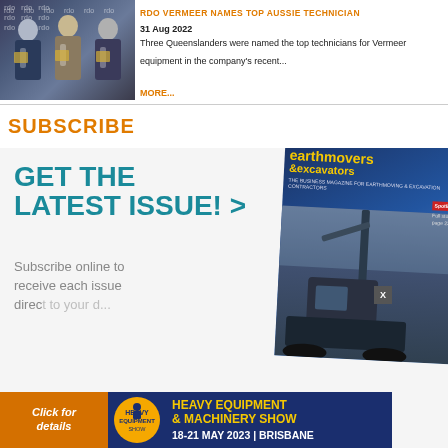[Figure (photo): Three men in suits holding award certificates standing in front of an RDO branded backdrop]
RDO VERMEER NAMES TOP AUSSIE TECHNICIAN
31 Aug 2022
Three Queenslanders were named the top technicians for Vermeer equipment in the company's recent...
MORE...
SUBSCRIBE
[Figure (advertisement): Subscribe advertisement showing 'GET THE LATEST ISSUE! >' with earthmovers & excavators magazine cover and a Heavy Equipment & Machinery Show banner at the bottom (18-21 May 2023, Brisbane)]